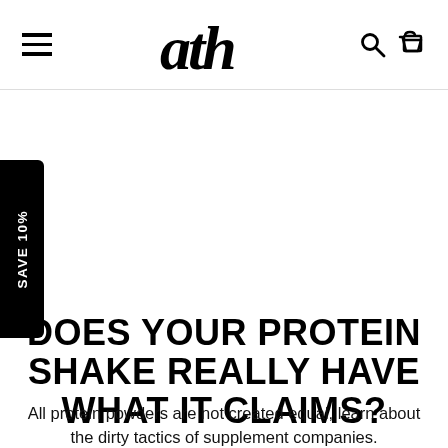ath
[Figure (logo): ATH brand logo in bold italic script font, centered in navigation bar]
SAVE 10%
DOES YOUR PROTEIN SHAKE REALLY HAVE WHAT IT CLAIMS?
All protein powders are not created equal, learn about the dirty tactics of supplement companies.